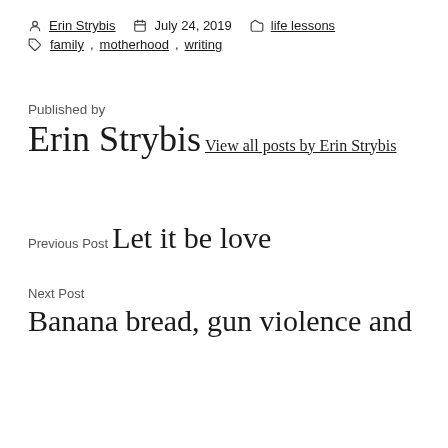Erin Strybis  July 24, 2019  life lessons
family, motherhood, writing
Published by
Erin Strybis
View all posts by Erin Strybis
Previous Post
Let it be love
Next Post
Banana bread, gun violence and